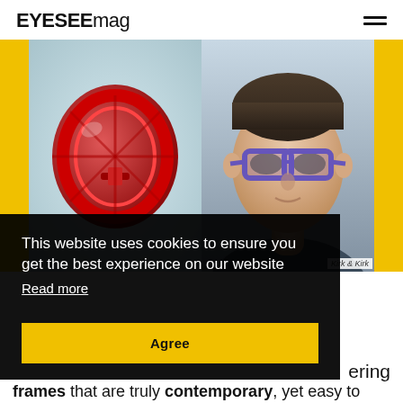EYESEEmag
[Figure (photo): Two photos side by side on yellow background: left shows red eyeglass frames closeup, right shows a young man wearing purple/blue eyeglass frames. Caption reads 'Kirk & Kirk']
Kirk & Kirk
This website uses cookies to ensure you get the best experience on our website
Read more
Agree
ering
frames that are truly contemporary, yet easy to